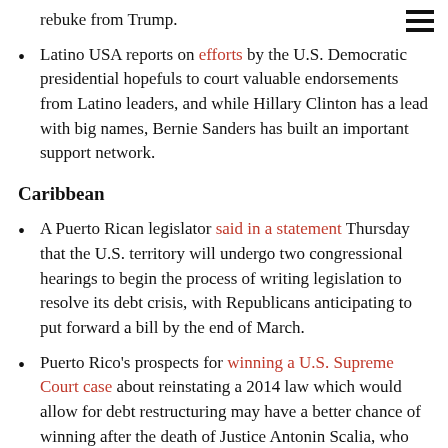rebuke from Trump.
Latino USA reports on efforts by the U.S. Democratic presidential hopefuls to court valuable endorsements from Latino leaders, and while Hillary Clinton has a lead with big names, Bernie Sanders has built an important support network.
Caribbean
A Puerto Rican legislator said in a statement Thursday that the U.S. territory will undergo two congressional hearings to begin the process of writing legislation to resolve its debt crisis, with Republicans anticipating to put forward a bill by the end of March.
Puerto Rico's prospects for winning a U.S. Supreme Court case about reinstating a 2014 law which would allow for debt restructuring may have a better chance of winning after the death of Justice Antonin Scalia, who strongly believed in enforcing the territory's contractual obligations to the United States.